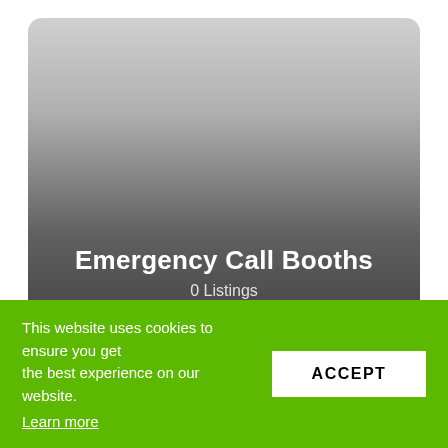[Figure (illustration): A rounded card with a gray gradient background (light gray at top, dark gray at bottom) containing centered white text reading 'Emergency Call Booths' and '0 Listings' below it.]
Emergency Call Booths
0 Listings
This website uses cookies to ensure you get the best experience on our website. Learn more
ACCEPT